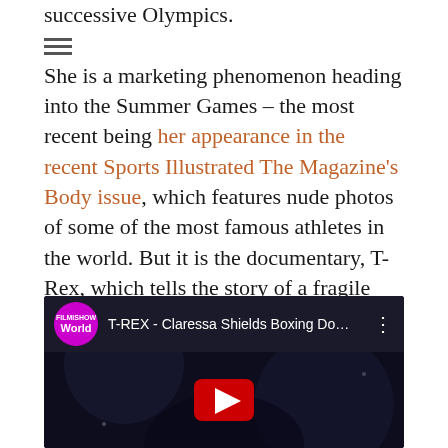successive Olympics.
She is a marketing phenomenon heading into the Summer Games – the most recent being her appearance in the recent Sports Illustrated The Magazine's Body issue, which features nude photos of some of the most famous athletes in the world. But it is the documentary, T-Rex, which tells the story of a fragile young girl turning into a determined woman and Olympic champion, that put her firmly on the American pop culture map.
[Figure (screenshot): YouTube video embed showing 'T-REX - Claressa Shields Boxing Do...' with FilmiShowWorld channel logo, dark background with bokeh, and red YouTube play button overlay.]